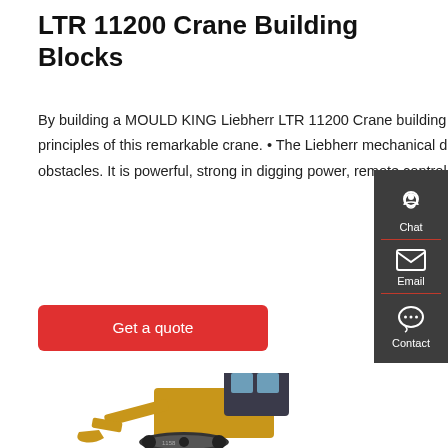LTR 11200 Crane Building Blocks
By building a MOULD KING Liebherr LTR 11200 Crane building block model, we will deeply explore the structure and mechanical principles of this remarkable crane. • The Liebherr mechanical drive excavator aims to conquer rugged roads and various terrain obstacles. It is powerful, strong in digging power, remote control operation, and lasting power.
Get a quote
[Figure (illustration): Yellow and dark grey construction excavator/bulldozer vehicle, partial view from the lower bottom of the page]